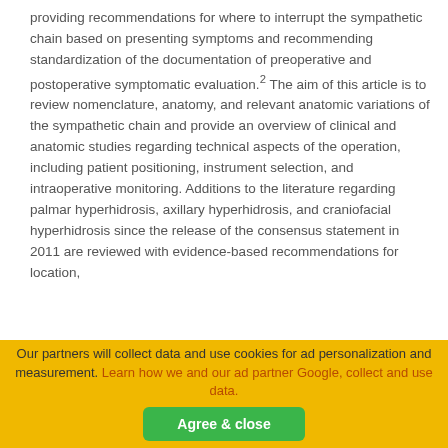providing recommendations for where to interrupt the sympathetic chain based on presenting symptoms and recommending standardization of the documentation of preoperative and postoperative symptomatic evaluation.2 The aim of this article is to review nomenclature, anatomy, and relevant anatomic variations of the sympathetic chain and provide an overview of clinical and anatomic studies regarding technical aspects of the operation, including patient positioning, instrument selection, and intraoperative monitoring. Additions to the literature regarding palmar hyperhidrosis, axillary hyperhidrosis, and craniofacial hyperhidrosis since the release of the consensus statement in 2011 are reviewed with evidence-based recommendations for location,
Our partners will collect data and use cookies for ad personalization and measurement. Learn how we and our ad partner Google, collect and use data. Agree & close